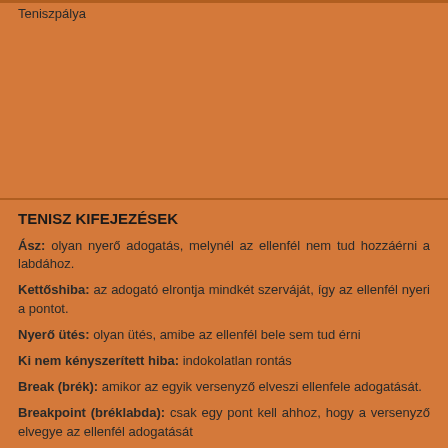Teniszpálya
TENISZ KIFEJEZÉSEK
Ász: olyan nyerő adogatás, melynél az ellenfél nem tud hozzáérni a labdához.
Kettőshiba: az adogató elrontja mindkét szerváját, így az ellenfél nyeri a pontot.
Nyerő ütés: olyan ütés, amibe az ellenfél bele sem tud érni
Ki nem kényszerített hiba: indokolatlan rontás
Break (brék): amikor az egyik versenyző elveszi ellenfele adogatását.
Breakpoint (bréklabda): csak egy pont kell ahhoz, hogy a versenyző elvegye az ellenfél adogatását